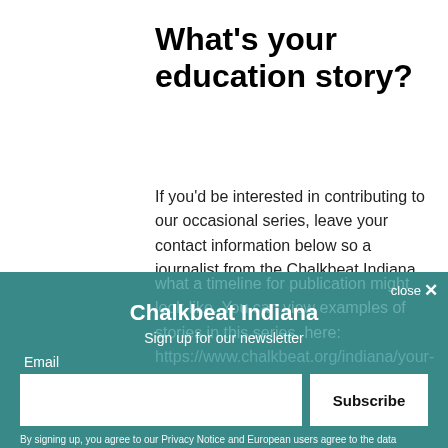What's your education story?
If you'd be interested in contributing to our occasional series, leave your contact information below so a journalist from the Chalkbeat Indiana team can follow up. We will not share this information with anyone outside our organization, and nothing will be published without permission. We also can't guarantee that every story will end up on the website, or what a timeline for publication might look like. You can view examples of stories in this series, here: https://www.chalkbeat.org/indiana/your-education-story/
Chalkbeat Indiana
Sign up for our newsletter
Email
Subscribe
By signing up, you agree to our Privacy Notice and European users agree to the data transfer policy.